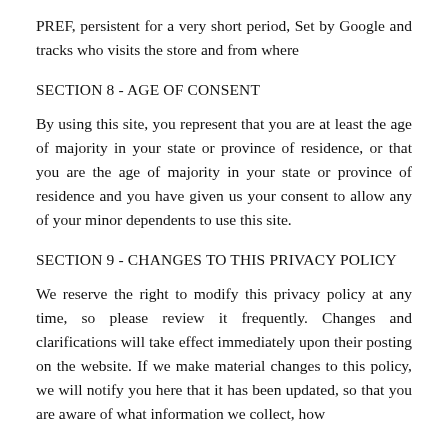PREF, persistent for a very short period, Set by Google and tracks who visits the store and from where
SECTION 8 - AGE OF CONSENT
By using this site, you represent that you are at least the age of majority in your state or province of residence, or that you are the age of majority in your state or province of residence and you have given us your consent to allow any of your minor dependents to use this site.
SECTION 9 - CHANGES TO THIS PRIVACY POLICY
We reserve the right to modify this privacy policy at any time, so please review it frequently. Changes and clarifications will take effect immediately upon their posting on the website. If we make material changes to this policy, we will notify you here that it has been updated, so that you are aware of what information we collect, how